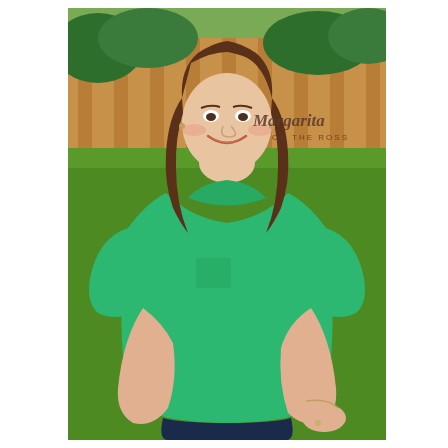[Figure (photo): A smiling young woman with long brown hair wearing a bright green short-sleeve scoop-neck top with a small chest pocket, paired with dark jeans. She is posing outdoors with one hand on her hip. The background shows a wooden fence and green grass/lawn. A watermark in the upper right reads 'Margarita ON THE ROSS' in cursive and small caps.]